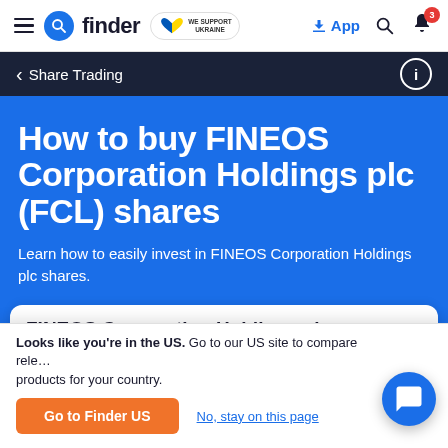finder | WE SUPPORT UKRAINE | App | Search | Notifications (3)
< Share Trading
How to buy FINEOS Corporation Holdings plc (FCL) shares
Learn how to easily invest in FINEOS Corporation Holdings plc shares.
FINEOS Corporation Holdings plc
Looks like you're in the US. Go to our US site to compare rele… products for your country.
Go to Finder US
No, stay on this page